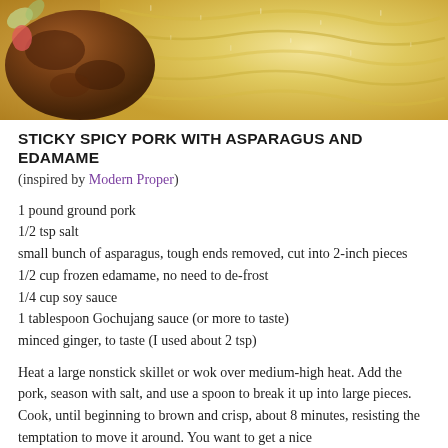[Figure (photo): Photo of sticky spicy pork dish with golden fried noodles or rice and dark braised meat pieces]
STICKY SPICY PORK WITH ASPARAGUS AND EDAMAME
(inspired by Modern Proper)
1 pound ground pork
1/2 tsp salt
small bunch of asparagus, tough ends removed, cut into 2-inch pieces
1/2 cup frozen edamame, no need to de-frost
1/4 cup soy sauce
1 tablespoon Gochujang sauce (or more to taste)
minced ginger, to taste (I used about 2 tsp)
Heat a large nonstick skillet or wok over medium-high heat. Add the pork, season with salt, and use a spoon to break it up into large pieces. Cook, until beginning to brown and crisp, about 8 minutes, resisting the temptation to move it around. You want to get a nice